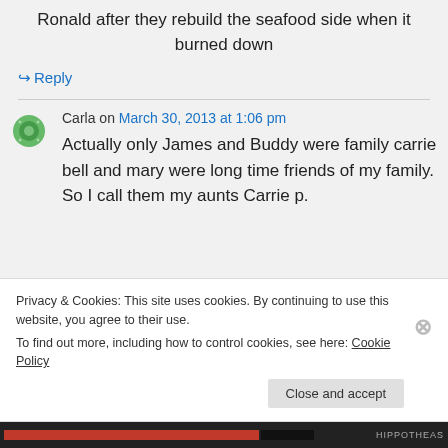Ronald after they rebuild the seafood side when it burned down
↪ Reply
Carla on March 30, 2013 at 1:06 pm
Actually only James and Buddy were family carrie bell and mary were long time friends of my family. So I call them my aunts Carrie p.
Privacy & Cookies: This site uses cookies. By continuing to use this website, you agree to their use.
To find out more, including how to control cookies, see here: Cookie Policy
Close and accept